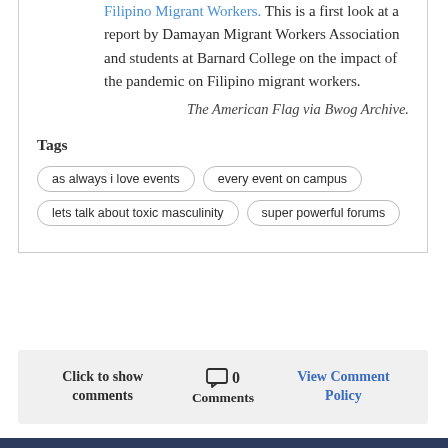Filipino Migrant Workers. This is a first look at a report by Damayan Migrant Workers Association and students at Barnard College on the impact of the pandemic on Filipino migrant workers.
The American Flag via Bwog Archive.
Tags
as always i love events
every event on campus
lets talk about toxic masculinity
super powerful forums
Click to show comments
0 Comments
View Comment Policy